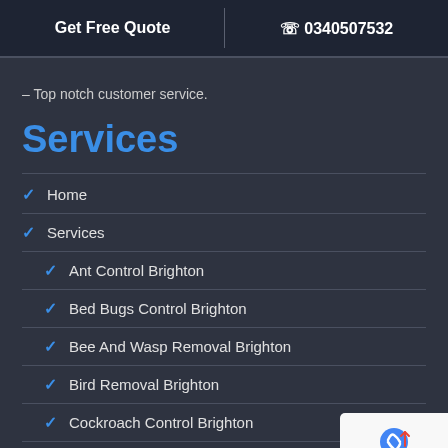Get Free Quote   0340507532
– Top notch customer service.
Services
Home
Services
Ant Control Brighton
Bed Bugs Control Brighton
Bee And Wasp Removal Brighton
Bird Removal Brighton
Cockroach Control Brighton
Flea Control Brighton